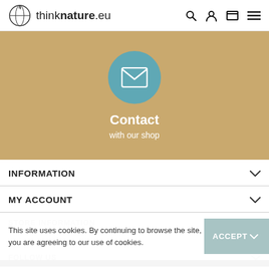thinknature.eu
[Figure (screenshot): Contact page hero with teal mail icon circle on tan/khaki background, showing 'Contact' title and 'with our shop' subtitle]
Contact
with our shop
INFORMATION
MY ACCOUNT
STORE INFORMATION
This site uses cookies. By continuing to browse the site, you are agreeing to our use of cookies.
FOLLOW US